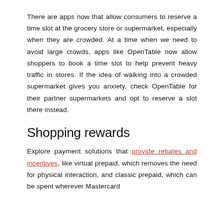There are apps now that allow consumers to reserve a time slot at the grocery store or supermarket, especially when they are crowded. At a time when we need to avoid large crowds, apps like OpenTable now allow shoppers to book a time slot to help prevent heavy traffic in stores. If the idea of walking into a crowded supermarket gives you anxiety, check OpenTable for their partner supermarkets and opt to reserve a slot there instead.
Shopping rewards
Explore payment solutions that provide rebates and incentives, like virtual prepaid, which removes the need for physical interaction, and classic prepaid, which can be spent wherever Mastercard